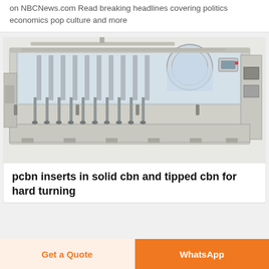on NBCNews.com Read breaking headlines covering politics economics pop culture and more
[Figure (photo): Industrial liquid filling machine with stainless steel components, rotary filler with multiple filling heads, enclosed in a white/grey cabinet with glass viewing panels and a control panel on the right side.]
pcbn inserts in solid cbn and tipped cbn for hard turning
Get a Quote
WhatsApp